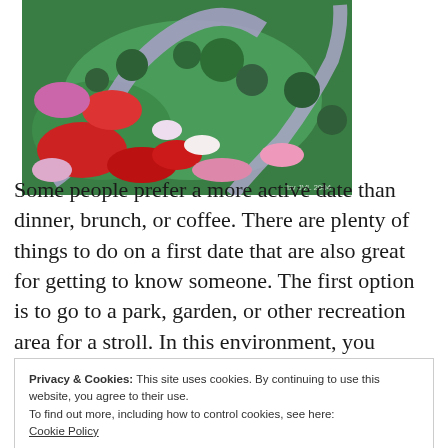[Figure (photo): Aerial view of colorful ornamental garden with winding paths, red and pink flower beds, sculpted green shrubs, and a curved stone walkway.]
Some people prefer a more active date than dinner, brunch, or coffee.  There are plenty of things to do on a first date that are also great for getting to know someone.  The first option is to go to a park, garden, or other recreation area for a stroll.  In this environment, you
Privacy & Cookies: This site uses cookies. By continuing to use this website, you agree to their use.
To find out more, including how to control cookies, see here:
Cookie Policy
[Close and accept button]
this and you have never met the person before, make